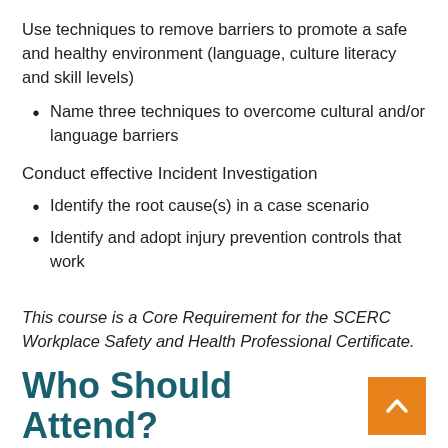Use techniques to remove barriers to promote a safe and healthy environment (language, culture literacy and skill levels)
Name three techniques to overcome cultural and/or language barriers
Conduct effective Incident Investigation
Identify the root cause(s) in a case scenario
Identify and adopt injury prevention controls that work
This course is a Core Requirement for the SCERC Workplace Safety and Health Professional Certificate.
Who Should Attend?
Health and Safety Professionals, Industrial Hygienists,